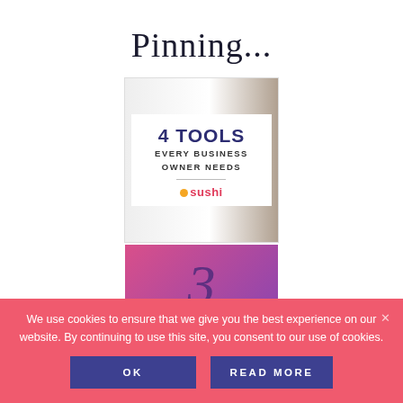Pinning...
[Figure (illustration): Card showing '4 TOOLS EVERY BUSINESS OWNER NEEDS' with the Sushi logo, on a light background with a partial photo of a person sitting]
[Figure (illustration): Partial card showing the number '3' on a purple/pink gradient background]
We use cookies to ensure that we give you the best experience on our website. By continuing to use this site, you consent to our use of cookies.
OK
READ MORE